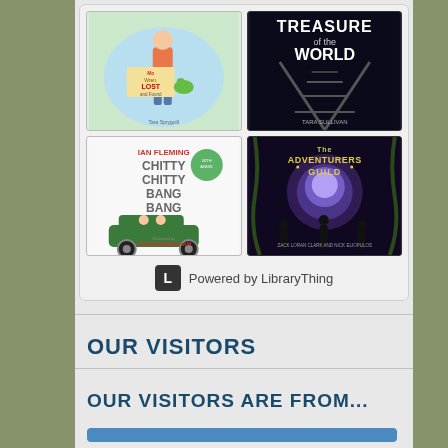[Figure (other): Grid of 4 book covers: Mo Wren Lost and Found by Tara Sypeault, Treasure of the World by Tara Sullivan, Chitty Chitty Bang Bang by Ian Fleming illustrated by John Burningham, The Adventurers Guild by Zack Loran Clark and Nick Eliopulos. Below: Powered by LibraryThing logo and text.]
OUR VISITORS
OUR VISITORS ARE FROM...